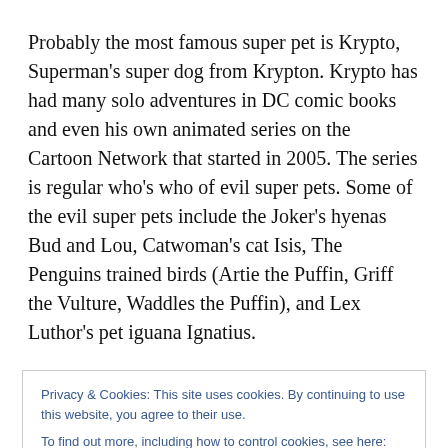Probably the most famous super pet is Krypto, Superman's super dog from Krypton. Krypto has had many solo adventures in DC comic books and even his own animated series on the Cartoon Network that started in 2005. The series is regular who's who of evil super pets. Some of the evil super pets include the Joker's hyenas Bud and Lou, Catwoman's cat Isis, The Penguins trained birds (Artie the Puffin, Griff the Vulture, Waddles the Puffin), and Lex Luthor's pet iguana Ignatius.
about animals and pets more than older readers. A lot
Privacy & Cookies: This site uses cookies. By continuing to use this website, you agree to their use.
To find out more, including how to control cookies, see here: Cookie Policy